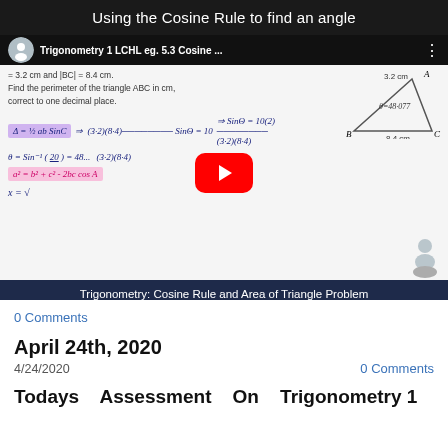Using the Cosine Rule to find an angle
[Figure (screenshot): YouTube video thumbnail showing a math lesson titled 'Trigonometry 1 LCHL eg. 5.3 Cosine...' with handwritten math equations about the cosine rule and area of triangle, with a red YouTube play button overlay. Bottom bar reads: Trigonometry: Cosine Rule and Area of Triangle Problem]
0 Comments
April 24th, 2020
4/24/2020
0 Comments
Todays   Assessment   On   Trigonometry 1